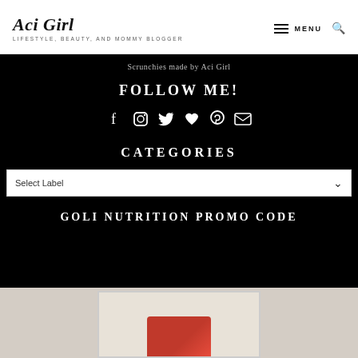Aci Girl — LIFESTYLE, BEAUTY, AND MOMMY BLOGGER
Scrunchies made by Aci Girl
FOLLOW ME!
[Figure (infographic): Social media follow icons: Facebook, Instagram, Twitter, Bloglovin, Pinterest, Email]
CATEGORIES
Select Label
GOLI NUTRITION PROMO CODE
[Figure (photo): Partial photo of a product in a frame on a beige/cream background]